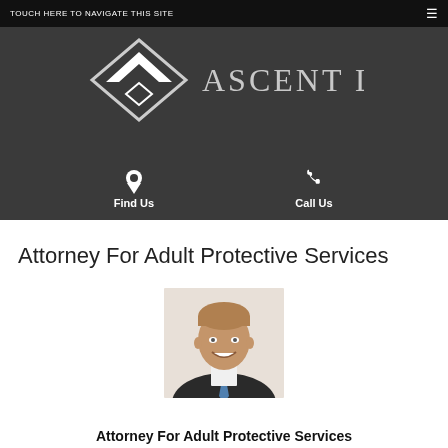TOUCH HERE TO NAVIGATE THIS SITE
[Figure (logo): Ascent Law logo: diamond/chevron icon in white with text ASCENT LAW in silver serif letters on dark background]
Find Us
Call Us
Attorney For Adult Protective Services
[Figure (photo): Professional headshot of a smiling middle-aged man in a dark suit with a blue tie]
Attorney For Adult Protective Services